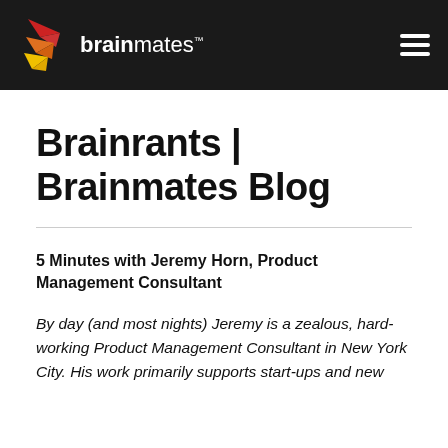brainmates
Brainrants | Brainmates Blog
5 Minutes with Jeremy Horn, Product Management Consultant
By day (and most nights) Jeremy is a zealous, hard-working Product Management Consultant in New York City. His work primarily supports start-ups and new...